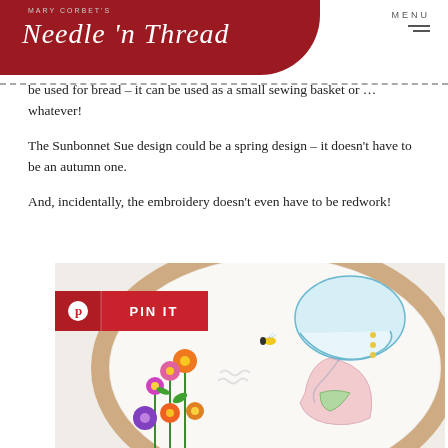Mary Corbet's Needle 'n Thread
be used for bread – it can be used as a small sewing basket or … whatever!
The Sunbonnet Sue design could be a spring design – it doesn't have to be an autumn one.
And, incidentally, the embroidery doesn't even have to be redwork!
[Figure (photo): Embroidery hoop showing a Sunbonnet Sue figure stitched in pastel colors (blue, pink, green) with colorful flowers (purple, orange, yellow) on white fabric. A Pinterest 'PIN IT' button overlay is visible in the lower left of the image.]